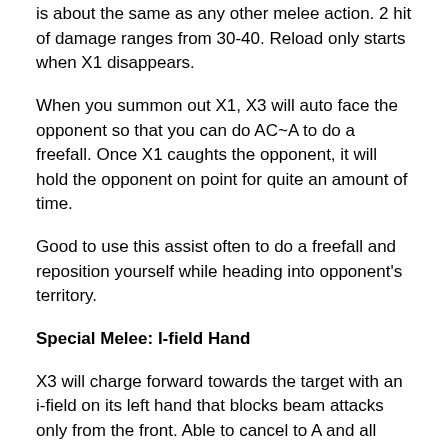is about the same as any other melee action. 2 hit of damage ranges from 30-40. Reload only starts when X1 disappears.
When you summon out X1, X3 will auto face the opponent so that you can do AC~A to do a freefall. Once X1 caughts the opponent, it will hold the opponent on point for quite an amount of time.
Good to use this assist often to do a freefall and reposition yourself while heading into opponent's territory.
Special Melee: I-field Hand
X3 will charge forward towards the target with an i-field on its left hand that blocks beam attacks only from the front. Able to cancel to A and all sorts of melee. X3 will face the opponent even when you are using this in green lock and you can cancel to A to do a freefall. The barrier of this unit has a slow hit when preventing shooting, there is no delay in movement but it could not prevent a long lasting gerobi.